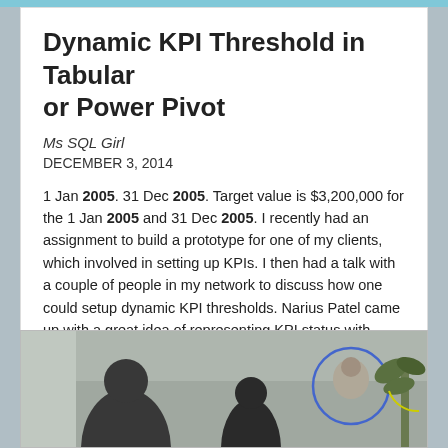Dynamic KPI Threshold in Tabular or Power Pivot
Ms SQL Girl
DECEMBER 3, 2014
1 Jan 2005. 31 Dec 2005. Target value is $3,200,000 for the 1 Jan 2005 and 31 Dec 2005. I recently had an assignment to build a prototype for one of my clients, which involved in setting up KPIs. I then had a talk with a couple of people in my network to discuss how one could setup dynamic KPI thresholds. Narius Patel came up with a great idea of representing KPI status with image and using separate table to store the threshold values. Thanks Narius!)
[Figure (photo): Photograph of people in a meeting or presentation room, with a circular highlight overlay and plant visible on the right side]